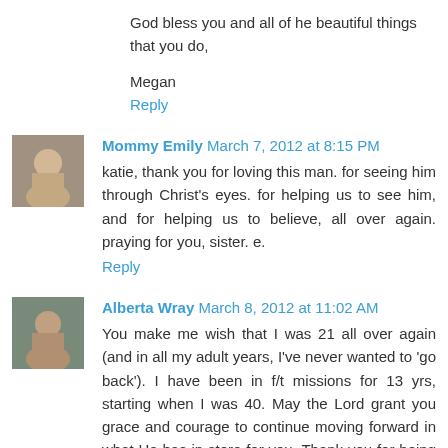God bless you and all of he beautiful things that you do,
Megan
Reply
Mommy Emily  March 7, 2012 at 8:15 PM
katie, thank you for loving this man. for seeing him through Christ's eyes. for helping us to see him, and for helping us to believe, all over again. praying for you, sister. e.
Reply
Alberta Wray  March 8, 2012 at 11:02 AM
You make me wish that I was 21 all over again (and in all my adult years, I've never wanted to 'go back'). I have been in f/t missions for 13 yrs, starting when I was 40. May the Lord grant you grace and courage to continue moving forward in what He has in store for you. Thank you for being courageous enough to not store up your treasures